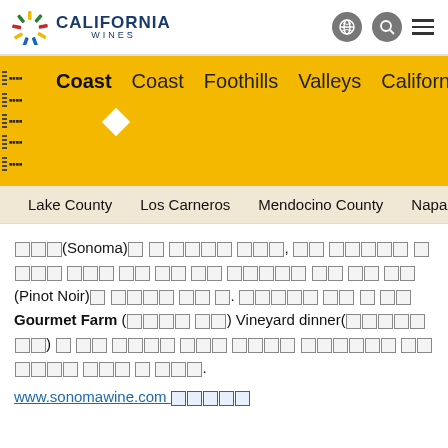California Wines - header with logo, globe icon, search icon, and menu
[Figure (screenshot): California Wines website navigation with yellow tab bar showing Coast (active), Coast, Foothills, Valleys, California tabs]
Lake County   Los Carneros   Mendocino County   Napa Val...
소노마(Sonoma)의 와인 생산지를 방문하면, 이곳 와이너리 중 많은 곳이 피노 누아(Pinot Noir)를 전문으로 하는 것을 알 수 있다. 방문객은 포도밭 농장 만찬 Gourmet Farm (비공개 행사) Vineyard dinner(포도밭 저녁) 등 특별한 음식 문화 체험 행사뿐 아니라 소노마 카운티 지역에서 열리는 다양한 행사에 참여 할 수 있다.
www.sonomawine.com ...